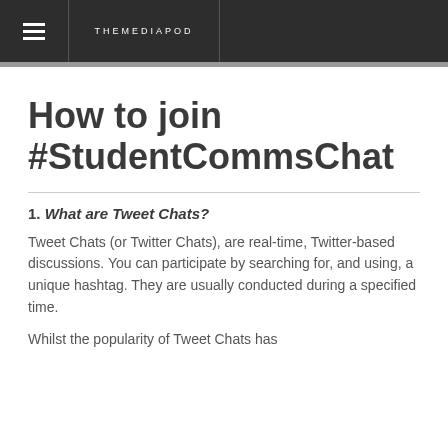THEMEDIAPOD
How to join #StudentCommsChat
1. What are Tweet Chats?
Tweet Chats (or Twitter Chats), are real-time, Twitter-based discussions. You can participate by searching for, and using, a unique hashtag. They are usually conducted during a specified time.
Whilst the popularity of Tweet Chats has